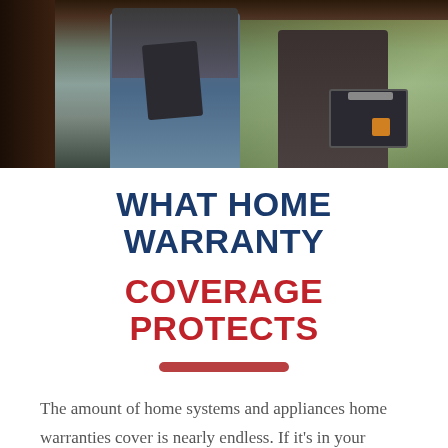[Figure (photo): A person (repairman or technician) holding a folder/binder and a tool case/toolbox, standing at a doorway with natural light in the background.]
WHAT HOME WARRANTY COVERAGE PROTECTS
The amount of home systems and appliances home warranties cover is nearly endless. If it's in your house and needs maintenance to be repaired, having home